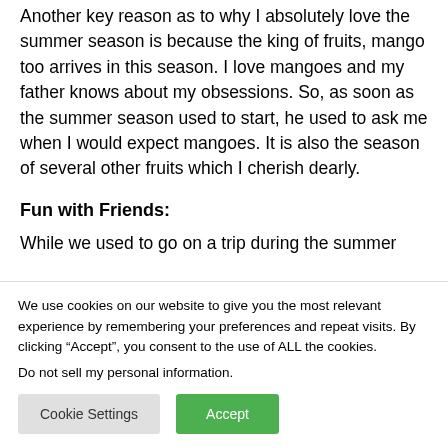Another key reason as to why I absolutely love the summer season is because the king of fruits, mango too arrives in this season. I love mangoes and my father knows about my obsessions. So, as soon as the summer season used to start, he used to ask me when I would expect mangoes. It is also the season of several other fruits which I cherish dearly.
Fun with Friends:
While we used to go on a trip during the summer
We use cookies on our website to give you the most relevant experience by remembering your preferences and repeat visits. By clicking “Accept”, you consent to the use of ALL the cookies.
Do not sell my personal information.